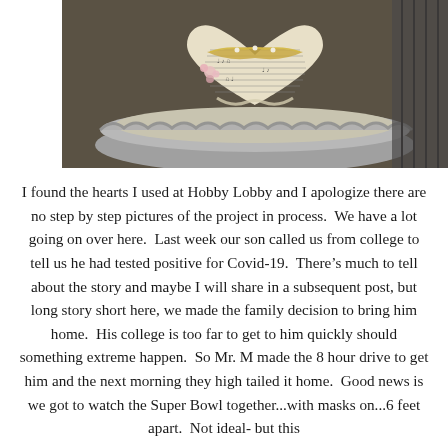[Figure (photo): A decorative heart-shaped craft made from sheet music paper and lace ribbon, adorned with small pink flowers, sitting in a silver ornate bowl or dish on a textured surface.]
I found the hearts I used at Hobby Lobby and I apologize there are no step by step pictures of the project in process.  We have a lot going on over here.  Last week our son called us from college to tell us he had tested positive for Covid-19.  There's much to tell about the story and maybe I will share in a subsequent post, but long story short here, we made the family decision to bring him home.  His college is too far to get to him quickly should something extreme happen.  So Mr. M made the 8 hour drive to get him and the next morning they high tailed it home.  Good news is we got to watch the Super Bowl together...with masks on...6 feet apart.  Not ideal- but this